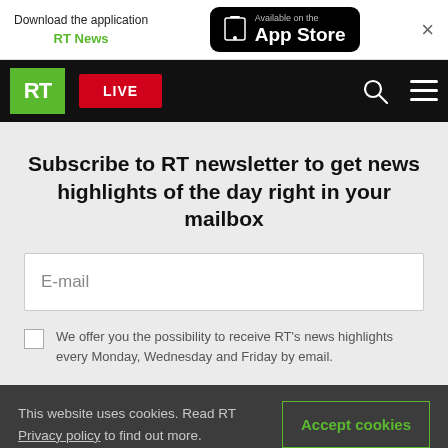Download the application RT News — Available on the App Store
[Figure (screenshot): RT website navigation bar with RT logo, LIVE button, search icon and hamburger menu]
Subscribe to RT newsletter to get news highlights of the day right in your mailbox
E-mail
We offer you the possibility to receive RT's news highlights every Monday, Wednesday and Friday by email.
This website uses cookies. Read RT Privacy policy to find out more.
Accept cookies